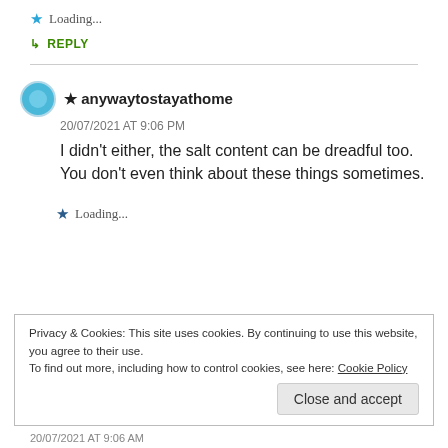★ Loading...
↳ REPLY
★ anywaytostayathome
20/07/2021 AT 9:06 PM
I didn't either, the salt content can be dreadful too. You don't even think about these things sometimes.
★ Loading...
Privacy & Cookies: This site uses cookies. By continuing to use this website, you agree to their use.
To find out more, including how to control cookies, see here: Cookie Policy
20/07/2021 AT 9:06 AM